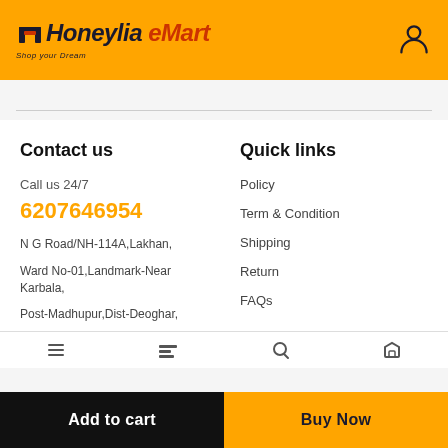[Figure (logo): Honeylia eMart logo with tagline 'Shop your Dream' on yellow header background]
Contact us
Call us 24/7
6207646954
N G Road/NH-114A,Lakhan,
Ward No-01,Landmark-Near Karbala,
Post-Madhupur,Dist-Deoghar,
Quick links
Policy
Term & Condition
Shipping
Return
FAQs
Add to cart
Buy Now